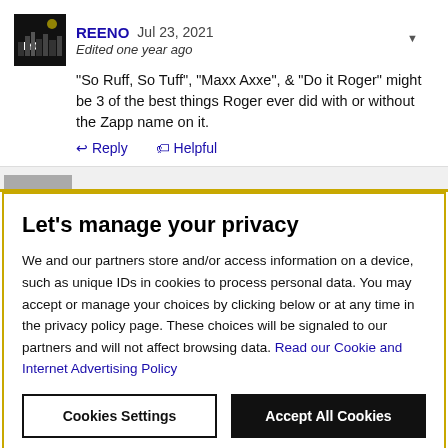REENO Jul 23, 2021
Edited one year ago
"So Ruff, So Tuff", "Maxx Axxe", & "Do it Roger" might be 3 of the best things Roger ever did with or without the Zapp name on it.
Reply   Helpful
Let's manage your privacy
We and our partners store and/or access information on a device, such as unique IDs in cookies to process personal data. You may accept or manage your choices by clicking below or at any time in the privacy policy page. These choices will be signaled to our partners and will not affect browsing data. Read our Cookie and Internet Advertising Policy
Cookies Settings   Accept All Cookies